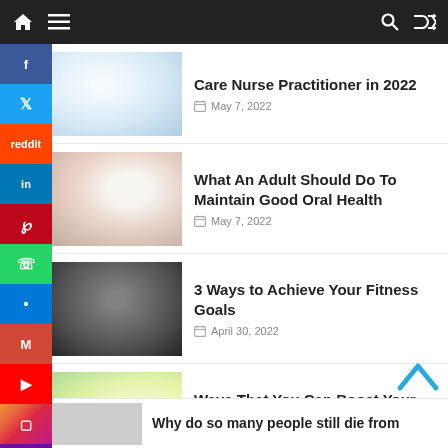Navigation bar with home, menu, search, and shuffle icons
[Figure (screenshot): Social media sidebar with icons: Facebook, Twitter, Reddit, LinkedIn, Pinterest, WhatsApp, Messenger, Gmail, YouTube, Instagram, Yahoo, Yahoo dark]
Care Nurse Practitioner in 2022
May 7, 2022
What An Adult Should Do To Maintain Good Oral Health
May 7, 2022
3 Ways to Achieve Your Fitness Goals
April 30, 2022
Ways That You Can Boost Your Inner and Outer Beauty
April 30, 2022
Why do so many people still die from